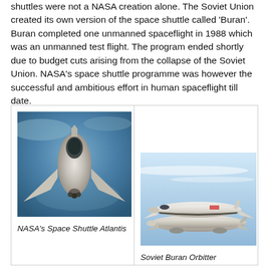shuttles were not a NASA creation alone. The Soviet Union created its own version of the space shuttle called 'Buran'. Buran completed one unmanned spaceflight in 1988 which was an unmanned test flight. The program ended shortly due to budget cuts arising from the collapse of the Soviet Union. NASA's space shuttle programme was however the successful and ambitious effort in human spaceflight till date.
[Figure (photo): NASA's Space Shuttle Atlantis photographed from above against a blue background, showing the shuttle's top view with its distinctive wings and tail.]
NASA's Space Shuttle Atlantis
[Figure (photo): Soviet Buran Orbitter shown mounted on top of a carrier aircraft, in flight against a light blue sky.]
Soviet Buran Orbitter